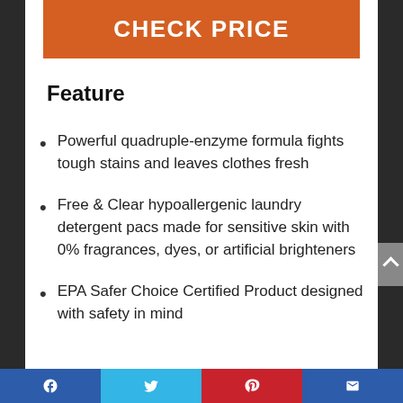[Figure (other): Orange CHECK PRICE button]
Feature
Powerful quadruple-enzyme formula fights tough stains and leaves clothes fresh
Free & Clear hypoallergenic laundry detergent pacs made for sensitive skin with 0% fragrances, dyes, or artificial brighteners
EPA Safer Choice Certified Product designed with safety in mind
Facebook | Twitter | Pinterest | Email